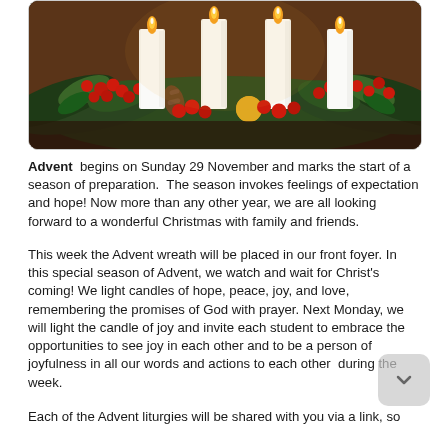[Figure (photo): Christmas Advent wreath with white candles surrounded by red berries, pine branches, and decorative fruits on a dark wooden surface.]
Advent begins on Sunday 29 November and marks the start of a season of preparation. The season invokes feelings of expectation and hope! Now more than any other year, we are all looking forward to a wonderful Christmas with family and friends.
This week the Advent wreath will be placed in our front foyer. In this special season of Advent, we watch and wait for Christ's coming! We light candles of hope, peace, joy, and love, remembering the promises of God with prayer. Next Monday, we will light the candle of joy and invite each student to embrace the opportunities to see joy in each other and to be a person of joyfulness in all our words and actions to each other during the week.
Each of the Advent liturgies will be shared with you via a link, so that your families can join in this time of waiting, expectation, and